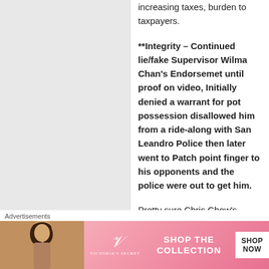increasing taxes, burden to taxpayers.

**Integrity – Continued lie/fake Supervisor Wilma Chan's Endorsemet until proof on video, Initially denied a warrant for pot possession disallowed him from a ride-along with San Leandro Police then later went to Patch point finger to his opponents and the police were out to get him.

Pretty sure Chris Chow's stupidity will continue – stay tune!
Advertisements
[Figure (infographic): Victoria's Secret advertisement banner with model photo, VS logo, 'SHOP THE COLLECTION' text, and 'SHOP NOW' button]